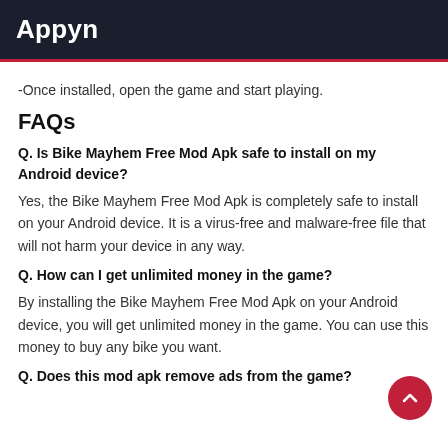Appyn
-Once installed, open the game and start playing.
FAQs
Q. Is Bike Mayhem Free Mod Apk safe to install on my Android device?
Yes, the Bike Mayhem Free Mod Apk is completely safe to install on your Android device. It is a virus-free and malware-free file that will not harm your device in any way.
Q. How can I get unlimited money in the game?
By installing the Bike Mayhem Free Mod Apk on your Android device, you will get unlimited money in the game. You can use this money to buy any bike you want.
Q. Does this mod apk remove ads from the game?